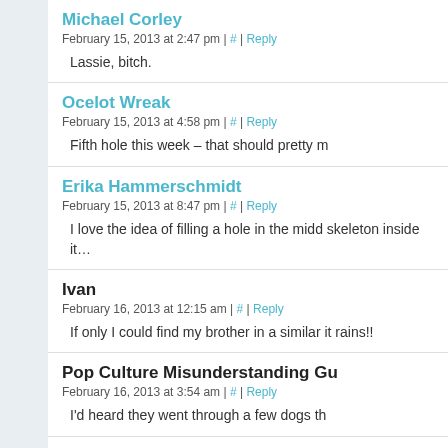Michael Corley
February 15, 2013 at 2:47 pm | # | Reply
Lassie, bitch.
Ocelot Wreak
February 15, 2013 at 4:58 pm | # | Reply
Fifth hole this week – that should pretty m
Erika Hammerschmidt
February 15, 2013 at 8:47 pm | # | Reply
I love the idea of filling a hole in the midd skeleton inside it…
Ivan
February 16, 2013 at 12:15 am | # | Reply
If only I could find my brother in a similar it rains!!
Pop Culture Misunderstanding Gu
February 16, 2013 at 3:54 am | # | Reply
I'd heard they went through a few dogs th
Firstl